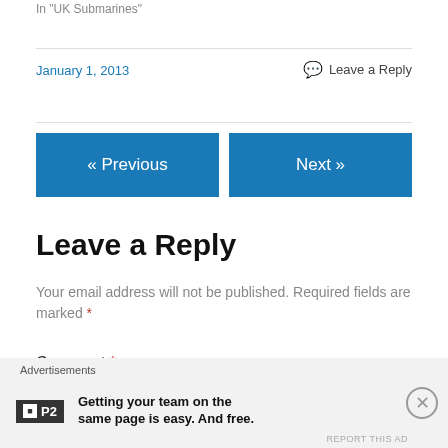In "UK Submarines"
January 1, 2013    💬 Leave a Reply
« Previous
Next »
Leave a Reply
Your email address will not be published. Required fields are marked *
Comment *
Advertisements  Getting your team on the same page is easy. And free.